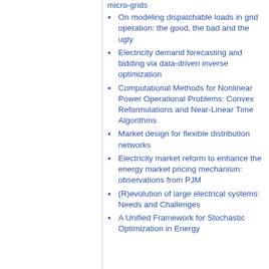micro-grids
On modeling dispatchable loads in grid operation: the good, the bad and the ugly
Electricity demand forecasting and bidding via data-driven inverse optimization
Computational Methods for Nonlinear Power Operational Problems: Convex Reformulations and Near-Linear Time Algorithms
Market design for flexible distribution networks
Electricity market reform to enhance the energy market pricing mechanism: observations from PJM
(R)evolution of large electrical systems: Needs and Challenges
A Unified Framework for Stochastic Optimization in Energy